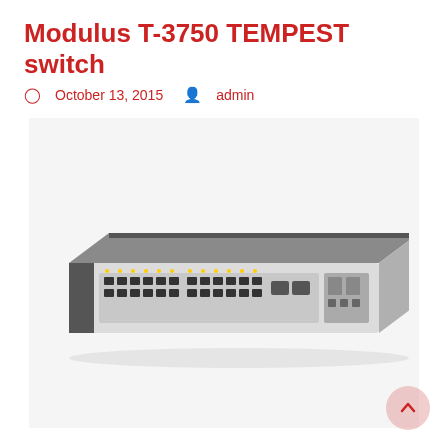Modulus T-3750 TEMPEST switch
October 13, 2015  admin
[Figure (photo): Photo of a Cisco 3750-series network switch, a 1U rack-mount unit with silver and dark grey chassis, multiple RJ45 ports, SFP uplink ports, and indicator LEDs on the front panel.]
Eurotempest has developed a TEMPEST level A version of Cisco's 3750-series v2 stackable switch. A data sheet for the product can be found here: Modulus T-3750